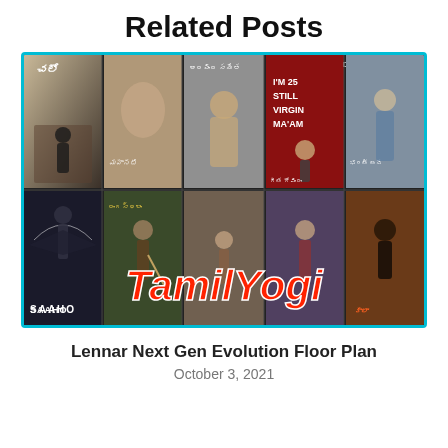Related Posts
[Figure (photo): A collage of Telugu/Tamil movie posters with the TamilYogi watermark. Top row includes: Chalo, Mahanati, Aravinda Sametha, I'm 25 Still Virgin Ma'am, and a Mahesh Babu film (Bharat Ane Nenu). Bottom row includes: Saaho, Rangasthalam, an action film, Geetha Govindam, and Kabali/Kaala. A large red italic TamilYogi logo is overlaid at the bottom center.]
Lennar Next Gen Evolution Floor Plan
October 3, 2021